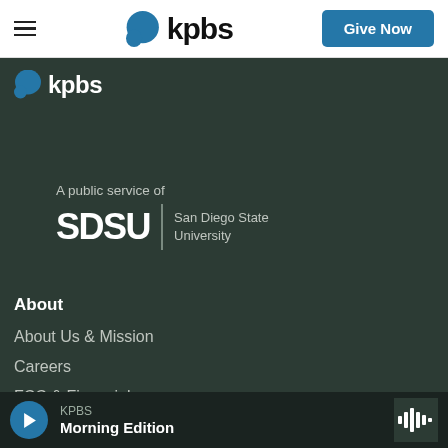≡  kpbs  Give Now
[Figure (logo): KPBS logo (blue speech bubble icon with 'kpbs' text) on dark background]
A public service of
[Figure (logo): SDSU | San Diego State University logo in white on dark background]
About
About Us & Mission
Careers
FCC & Financial
KPBS Morning Edition